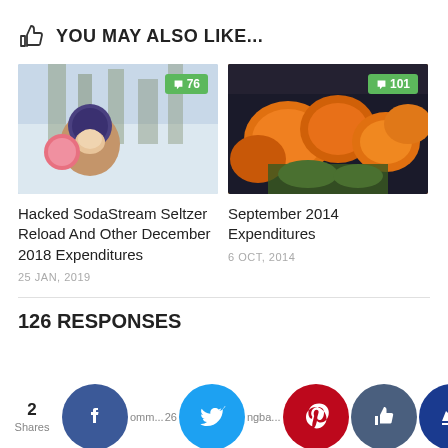YOU MAY ALSO LIKE...
[Figure (photo): Woman with baby in winter outdoor setting, comment badge showing 76]
[Figure (photo): Pumpkins at market, comment badge showing 101]
Hacked SodaStream Seltzer Reload And Other December 2018 Expenditures
25 JAN, 2019
September 2014 Expenditures
6 OCT, 2014
126 RESPONSES
2 Shares
Comm... 26
ngba...